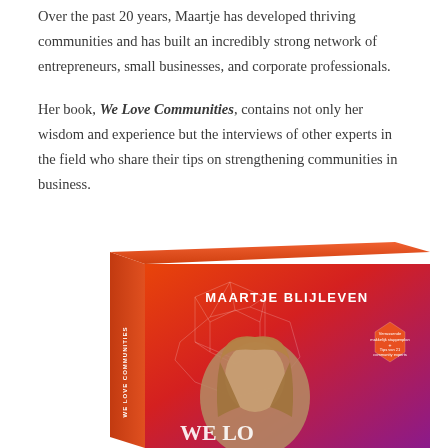Over the past 20 years, Maartje has developed thriving communities and has built an incredibly strong network of entrepreneurs, small businesses, and corporate professionals.
Her book, We Love Communities, contains not only her wisdom and experience but the interviews of other experts in the field who share their tips on strengthening communities in business.
[Figure (photo): 3D book cover of 'We Love Communities' by Maartje Blijleven, showing a red-to-orange gradient cover with geometric crystal/gem line art, a photo of a blonde woman, and text 'MAARTJE BLIJLEVEN' on the cover. A hexagonal badge on the right side shows promotional text.]